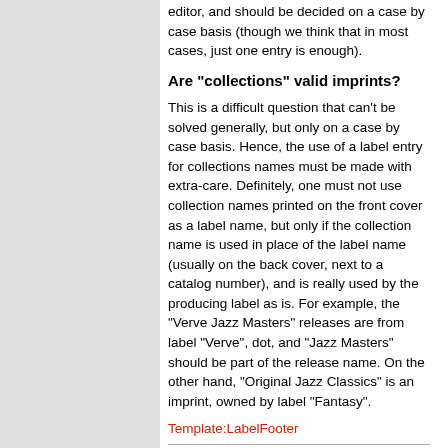editor, and should be decided on a case by case basis (though we think that in most cases, just one entry is enough).
Are "collections" valid imprints?
This is a difficult question that can't be solved generally, but only on a case by case basis. Hence, the use of a label entry for collections names must be made with extra-care. Definitely, one must not use collection names printed on the front cover as a label name, but only if the collection name is used in place of the label name (usually on the back cover, next to a catalog number), and is really used by the producing label as is. For example, the "Verve Jazz Masters" releases are from label "Verve", dot, and "Jazz Masters" should be part of the release name. On the other hand, "Original Jazz Classics" is an imprint, owned by label "Fantasy".
Template:LabelFooter